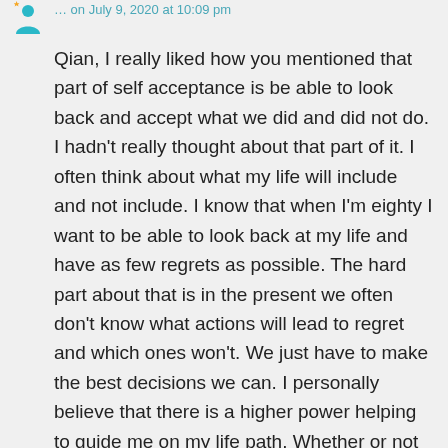[Figure (illustration): Teal/green avatar icon of a person]
… on July 9, 2020 at 10:09 pm
Qian, I really liked how you mentioned that part of self acceptance is be able to look back and accept what we did and did not do. I hadn't really thought about that part of it. I often think about what my life will include and not include. I know that when I'm eighty I want to be able to look back at my life and have as few regrets as possible. The hard part about that is in the present we often don't know what actions will lead to regret and which ones won't. We just have to make the best decisions we can. I personally believe that there is a higher power helping to guide me on my life path. Whether or not there actually is a